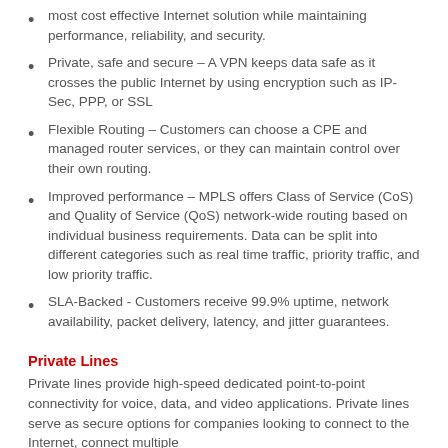most cost effective Internet solution while maintaining performance, reliability, and security.
Private, safe and secure – A VPN keeps data safe as it crosses the public Internet by using encryption such as IP-Sec, PPP, or SSL
Flexible Routing – Customers can choose a CPE and managed router services, or they can maintain control over their own routing.
Improved performance – MPLS offers Class of Service (CoS) and Quality of Service (QoS) network-wide routing based on individual business requirements. Data can be split into different categories such as real time traffic, priority traffic, and low priority traffic.
SLA-Backed - Customers receive 99.9% uptime, network availability, packet delivery, latency, and jitter guarantees.
Private Lines
Private lines provide high-speed dedicated point-to-point connectivity for voice, data, and video applications. Private lines serve as secure options for companies looking to connect to the Internet, connect multiple